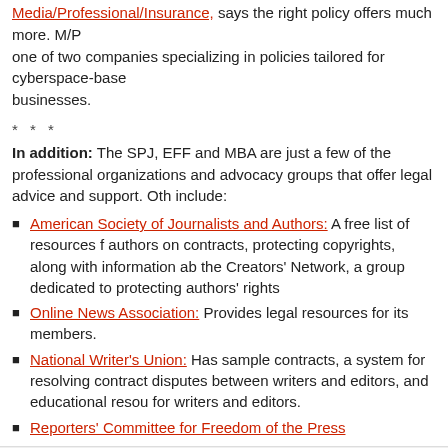Media/Professional/Insurance, says the right policy offers much more. M/P one of two companies specializing in policies tailored for cyberspace-based businesses.
* * *
In addition: The SPJ, EFF and MBA are just a few of the professional organizations and advocacy groups that offer legal advice and support. Others include:
American Society of Journalists and Authors: A free list of resources for authors on contracts, protecting copyrights, along with information about the Creators' Network, a group dedicated to protecting authors' rights.
Online News Association: Provides legal resources for its members.
National Writer's Union: Has sample contracts, a system for resolving contract disputes between writers and editors, and educational resources for writers and editors.
Reporters' Committee for Freedom of the Press
Filed Under: Uncategorized   Tagged With: Entrepreneurial Journalism, fair u... Media Bloggers Association, media law, plagiarism, taxes